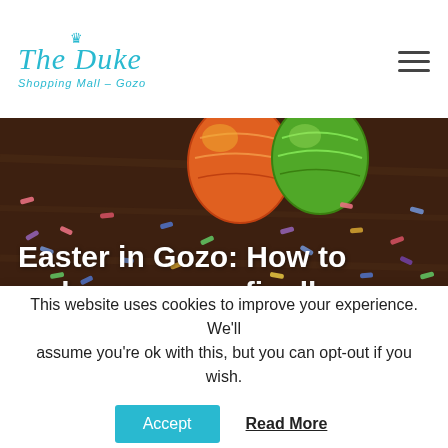The Duke Shopping Mall – Gozo
[Figure (photo): Easter chocolate eggs wrapped in colourful foil (orange and green) resting on a dark wooden surface covered with multicoloured sprinkles.]
Easter in Gozo: How to make your own figolla
It's time to bake Gozo's favourite Easter treat! Easter in Gozo is a magical time of year and the
This website uses cookies to improve your experience. We'll assume you're ok with this, but you can opt-out if you wish.
Accept    Read More